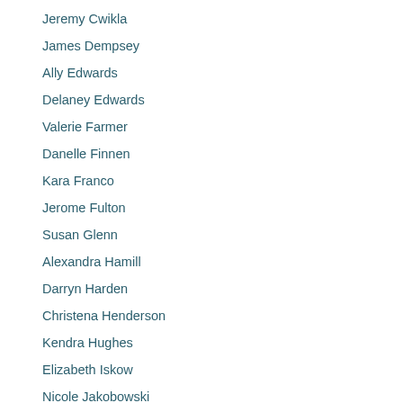Jeremy Cwikla
James Dempsey
Ally Edwards
Delaney Edwards
Valerie Farmer
Danelle Finnen
Kara Franco
Jerome Fulton
Susan Glenn
Alexandra Hamill
Darryn Harden
Christena Henderson
Kendra Hughes
Elizabeth Iskow
Nicole Jakobowski